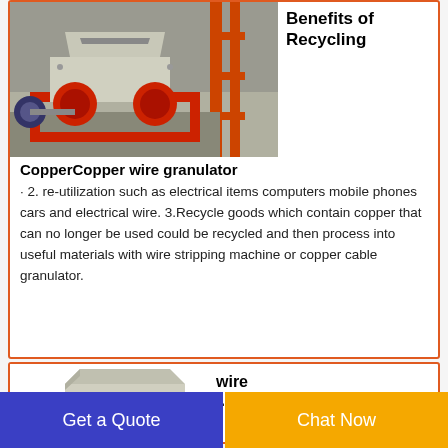[Figure (photo): Copper wire granulator machine — industrial red and grey metal shredder/granulator unit with motor, mounted on a red metal frame, outdoors at an industrial facility with orange scaffolding in background.]
Benefits of Recycling
CopperCopper wire granulator
· 2. re-utilization such as electrical items computers mobile phones cars and electrical wire. 3.Recycle goods which contain copper that can no longer be used could be recycled and then process into useful materials with wire stripping machine or copper cable granulator.
[Figure (photo): Partial view of a box-shaped grey metal machine component, likely another wire granulator or related device.]
wire
Get a Quote   Chat Now